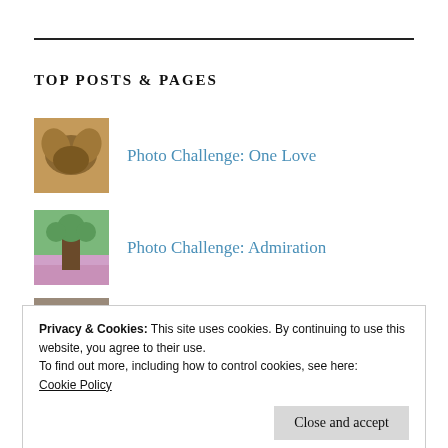TOP POSTS & PAGES
Photo Challenge: One Love
Photo Challenge: Admiration
Q is for Queen Anne's Lace
Privacy & Cookies: This site uses cookies. By continuing to use this website, you agree to their use.
To find out more, including how to control cookies, see here:
Cookie Policy
Close and accept